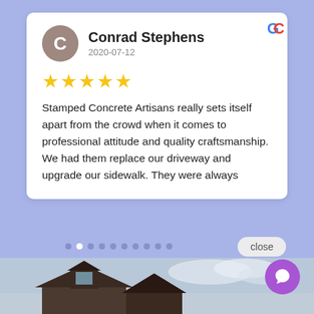Conrad Stephens
2020-07-12
★★★★★
Stamped Concrete Artisans really sets itself apart from the crowd when it comes to professional attitude and quality craftsmanship. We had them replace our driveway and upgrade our sidewalk. They were always
close
Hi there, have a question? Text us here.